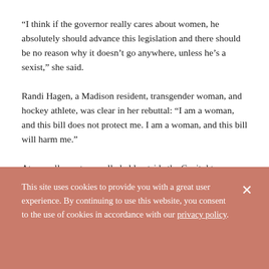“I think if the governor really cares about women, he absolutely should advance this legislation and there should be no reason why it doesn’t go anywhere, unless he’s a sexist,” she said.
Randi Hagen, a Madison resident, transgender woman, and hockey athlete, was clear in her rebuttal: “I am a woman, and this bill does not protect me. I am a woman, and this bill will harm me.”
At a small, pro-trans rally held outside the Capitol to counter the messages at the press conference, the message was unequivocal. Brian Juchems, Co-Executive Director of
This site uses cookies to provide you with a great user experience. By continuing to use this website, you consent to the use of cookies in accordance with our privacy policy.